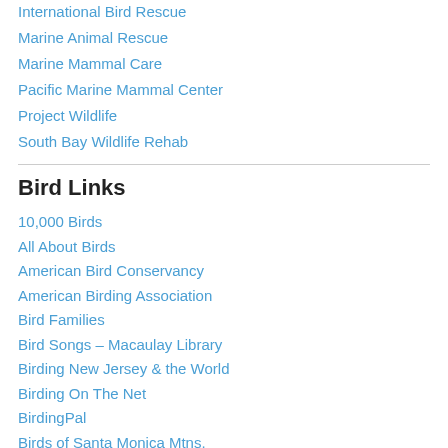International Bird Rescue
Marine Animal Rescue
Marine Mammal Care
Pacific Marine Mammal Center
Project Wildlife
South Bay Wildlife Rehab
Bird Links
10,000 Birds
All About Birds
American Bird Conservancy
American Birding Association
Bird Families
Bird Songs – Macaulay Library
Birding New Jersey & the World
Birding On The Net
BirdingPal
Birds of Santa Monica Mtns.
Birdwatching Info – TripBuzz